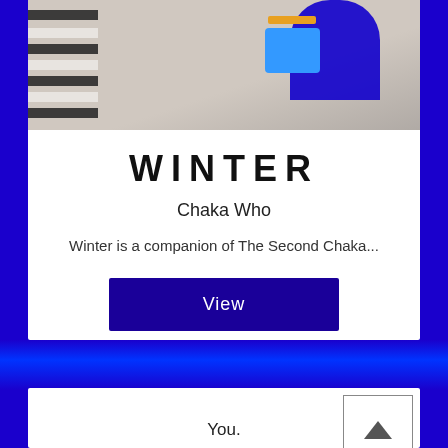[Figure (illustration): Top portion of a card showing a 3D rendered or illustrated scene with a blue figure/character, a blue bag, and a piano or striped floor element on a beige background.]
WINTER
Chaka Who
Winter is a companion of The Second Chaka...
[Figure (other): A 'View' button — dark navy blue rectangle with white 'View' text.]
[Figure (other): A scroll-to-top button (chevron/up arrow in a square box) on a white card background, with 'You.' text below.]